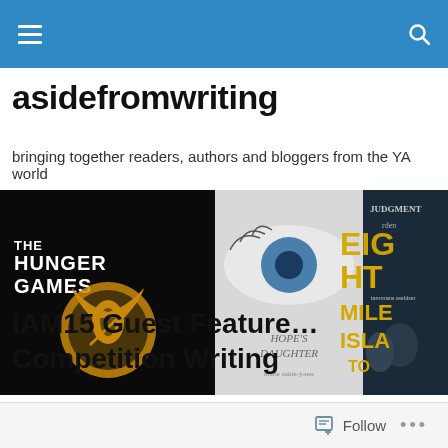Navigation bar with hamburger menu and search icon
asidefromwriting
bringing together readers, authors and bloggers from the YA world
[Figure (photo): Banner image showing book covers including The Hunger Games, Hope's Daughter, Eight Mile Island, and Judgment (partial), arranged as overlapping book covers]
IAM15 Guest Feature… Competition Writing
Follow ...